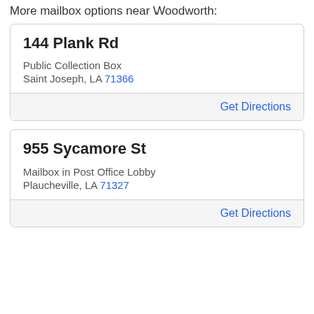More mailbox options near Woodworth:
144 Plank Rd
Public Collection Box
Saint Joseph, LA 71366
Get Directions
955 Sycamore St
Mailbox in Post Office Lobby
Plaucheville, LA 71327
Get Directions